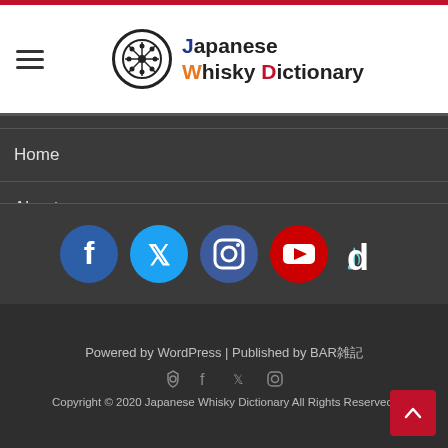Japanese Whisky Dictionary
Home
About
Operator Information
Contact us
Privacy policy
[Figure (other): Social media icons: Facebook, Twitter, Instagram, YouTube, TikTok]
Powered by WordPress | Published by BAR雑記
Copyright © 2020 Japanese Whisky Dictionary All Rights Reserved.